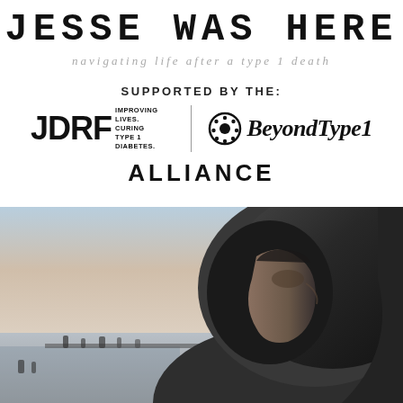JESSE WAS HERE
navigating life after a type 1 death
SUPPORTED BY THE:
[Figure (logo): JDRF logo with tagline: IMPROVING LIVES. CURING TYPE 1 DIABETES. alongside Beyond Type 1 logo with circular icon and italic script text, forming the JDRF Beyond Type 1 Alliance]
ALLIANCE
[Figure (photo): Young man wearing a dark hoodie, shown in profile view looking to the right, with a pier and water scene in the blurred background during sunset/dusk lighting]